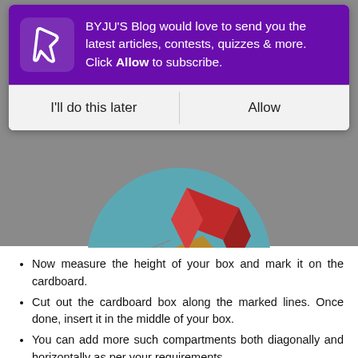[Figure (screenshot): BYJU'S blog notification popup with purple header containing the BYJU'S B logo icon and text 'BYJU'S Blog would love to send you the latest articles, contests, quizzes & more. Click Allow to subscribe.' with two buttons: 'I'll do this later' and 'Allow']
[Figure (illustration): Circular illustration showing cardboard boxes and geometric shapes in teal/blue background with red, tan/brown colored box shapes and a pencil]
Now measure the height of your box and mark it on the cardboard.
Cut out the cardboard box along the marked lines. Once done, insert it in the middle of your box.
You can add more such compartments both diagonally and horizontally as per your requirements.